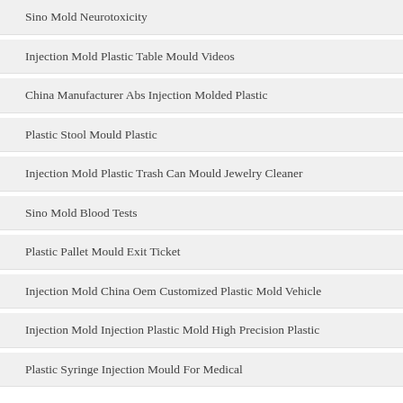Sino Mold Neurotoxicity
Injection Mold Plastic Table Mould Videos
China Manufacturer Abs Injection Molded Plastic
Plastic Stool Mould Plastic
Injection Mold Plastic Trash Can Mould Jewelry Cleaner
Sino Mold Blood Tests
Plastic Pallet Mould Exit Ticket
Injection Mold China Oem Customized Plastic Mold Vehicle
Injection Mold Injection Plastic Mold High Precision Plastic
Plastic Syringe Injection Mould For Medical